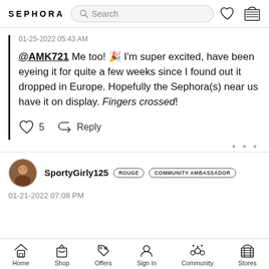SEPHORA
01-25-2022 05:43 AM
@AMK721 Me too! 🎉 I'm super excited, have been eyeing it for quite a few weeks since I found out it dropped in Europe. Hopefully the Sephora(s) near us have it on display. Fingers crossed!
♡ 5  Reply
• • •
SportyGirly125  ROUGE  COMMUNITY AMBASSADOR
01-21-2022 07:08 PM
Home  Shop  Offers  Sign In  Community  Stores